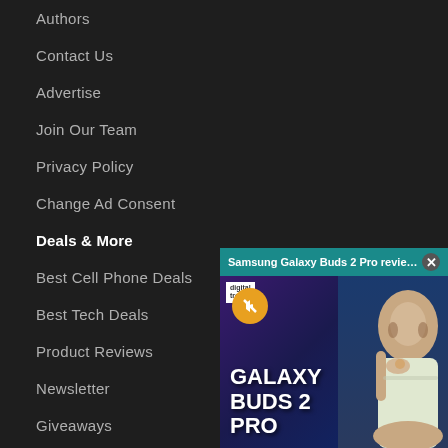Authors
Contact Us
Advertise
Join Our Team
Privacy Policy
Change Ad Consent
Deals & More
Best Cell Phone Deals
Best Tech Deals
Product Reviews
Newsletter
Giveaways
Android News
[Figure (screenshot): Video popup showing Samsung Galaxy Buds 2 Pro review with title bar, mute icon, Digital Trends logo, and a person holding an earbud against a purple/blue background with text GALAXY BUDS 2 PRO]